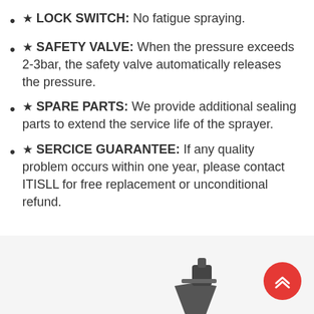★ LOCK SWITCH: No fatigue spraying.
★ SAFETY VALVE: When the pressure exceeds 2-3bar, the safety valve automatically releases the pressure.
★ SPARE PARTS: We provide additional sealing parts to extend the service life of the sprayer.
★ SERCICE GUARANTEE: If any quality problem occurs within one year, please contact ITISLL for free replacement or unconditional refund.
[Figure (photo): Bottom portion of a product (sprayer) shown in dark grey/black color, partially visible at the bottom of the page. A red circular scroll-to-top button with double chevron arrows is overlaid in the bottom-right corner.]